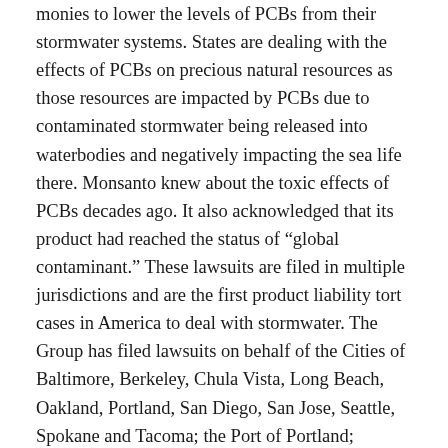monies to lower the levels of PCBs from their stormwater systems. States are dealing with the effects of PCBs on precious natural resources as those resources are impacted by PCBs due to contaminated stormwater being released into waterbodies and negatively impacting the sea life there. Monsanto knew about the toxic effects of PCBs decades ago. It also acknowledged that its product had reached the status of “global contaminant.” These lawsuits are filed in multiple jurisdictions and are the first product liability tort cases in America to deal with stormwater. The Group has filed lawsuits on behalf of the Cities of Baltimore, Berkeley, Chula Vista, Long Beach, Oakland, Portland, San Diego, San Jose, Seattle, Spokane and Tacoma; the Port of Portland; Counties of Baltimore and Los Angeles; District of Columbia and the States of Washington and New Mexico due to PCB contamination.